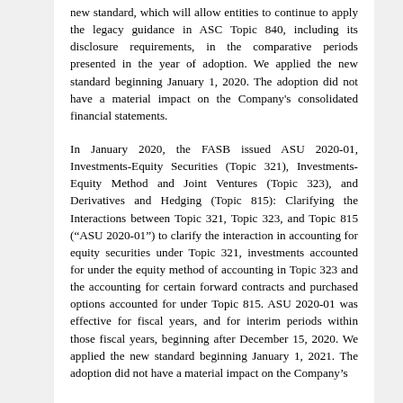new standard, which will allow entities to continue to apply the legacy guidance in ASC Topic 840, including its disclosure requirements, in the comparative periods presented in the year of adoption. We applied the new standard beginning January 1, 2020. The adoption did not have a material impact on the Company's consolidated financial statements.
In January 2020, the FASB issued ASU 2020-01, Investments-Equity Securities (Topic 321), Investments-Equity Method and Joint Ventures (Topic 323), and Derivatives and Hedging (Topic 815): Clarifying the Interactions between Topic 321, Topic 323, and Topic 815 (“ASU 2020-01”) to clarify the interaction in accounting for equity securities under Topic 321, investments accounted for under the equity method of accounting in Topic 323 and the accounting for certain forward contracts and purchased options accounted for under Topic 815. ASU 2020-01 was effective for fiscal years, and for interim periods within those fiscal years, beginning after December 15, 2020. We applied the new standard beginning January 1, 2021. The adoption did not have a material impact on the Company’s